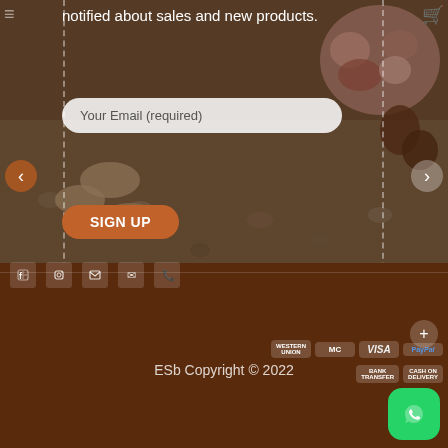[Figure (photo): Wedding photo background showing bride and groom feet with flower bouquet on pebbled ground, with semi-transparent dark overlay]
notified about sales and new products.
Your Email (required)
SIGN UP
[Figure (illustration): American flag icon in the bottom-right area of the photo]
ESb Copyright © 2022
[Figure (logo): WhatsApp green button icon in bottom-right corner]
[Figure (infographic): Payment method icons: Western Union, MasterCard, VISA, PayPal, Bank Transfer, Cash on Delivery]